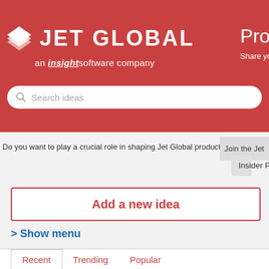[Figure (logo): Jet Global logo with diamond/layers icon and text 'JET GLOBAL an insightsoftware company' on red background]
Product Ide
Share your suggestions
Search ideas
Do you want to play a crucial role in shaping Jet Global products?
Join the Jet
Insider Program
Add a new idea
> Show menu
Recent	Trending	Popular